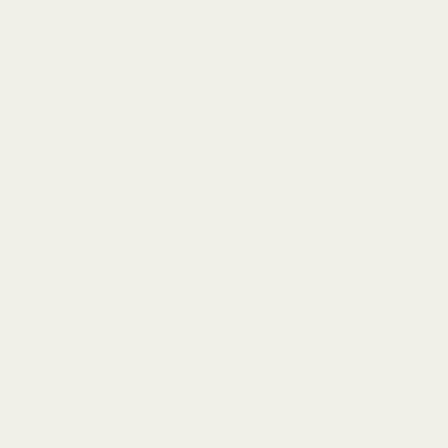| Subject | Author |
| --- | --- |
| much-as-quirky-anecdote thread | ultramarir |
| Re: Not-really-brag-so-much-as-quirky-anecdote thread | ultramarir |
| Re: Not-really-brag-so-much-as-quirky-anecdote thread | DeeDee |
| Re: Not-really-brag-so-much-as-quirky-anecdote thread | kelly0523 |
| Re: Not-really-brag-so-much-as-quirky-anecdote thread | kelly0523 |
| Re: Not-really-brag-so-much-as-quirky-anecdote thread | doubtfulg |
| Re: Not-really-brag-so-much-as-quirky-anecdote thread | DiamondL |